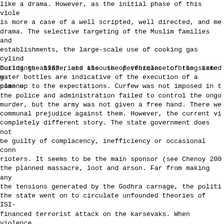like a drama. However, as the initial phase of this viole is more a case of a well scripted, well directed, and me drama. The selective targeting of the Muslim families and establishments, the large-scale use of cooking gas cylind buildings ablaze, and the use of vehicles to bring armed water bottles are indicative of the execution of a planne
During the 1969 riots also the performance of the state g come up to the expectations. Curfew was not imposed in t the police and administration failed to control the ongo murder, but the army was not given a free hand. There we communal prejudice against them. However, the current vi completely different story. The state government does not be guilty of complacency, inefficiency or occasional conn rioters. It seems to be the main sponsor (see Chenoy 200 the planned massacre, loot and arson. Far from making any the tensions generated by the Godhra carnage, the politi the state went on to circulate unfounded theories of ISI financed terrorist attack on the karsevaks. When violence the Muslims, it was described as a natural reaction as i same. In the evening of February 28, after many hours of violence, a senior vice president of the Vishva Hindu Pa news channel to justify the Bharat Bandh call for March anger against the Godhra killings had not been released explains the mood of the political leadership of the sta leaders of their larger parivar. Reports say that the Mu were attacked by mobs that were accompanied by the police Muslim mobs resisted, the police fired on them to break Once this was done, the attacking mobs indulged in unhin all kind. The story of the gruesome murder of Ehsan Jaf